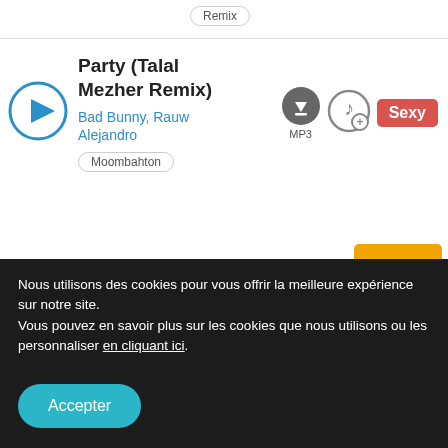Remix
Party (Talal Mezher Remix)
Bad Bunny, Rauw Alejandro
Moombahton
MP3
Sexy
Party (Lkhn Remix)
Bad Bunny, Rauw Alejandro
Moombahton
MP3
Chill Sexy
Nous utilisons des cookies pour vous offrir la meilleure expérience sur notre site.
Vous pouvez en savoir plus sur les cookies que nous utilisons ou les personnaliser en cliquant ici.
Accepter